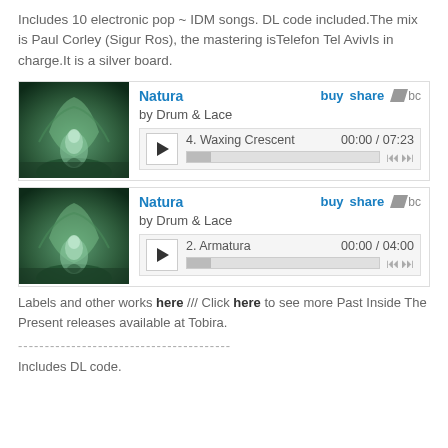Includes 10 electronic pop ~ IDM songs. DL code included.The mix is Paul Corley (Sigur Ros), the mastering isTelefon Tel AvivIs in charge.It is a silver board.
[Figure (screenshot): Bandcamp music player for 'Natura' by Drum & Lace showing track 4 Waxing Crescent, 00:00 / 07:23]
[Figure (screenshot): Bandcamp music player for 'Natura' by Drum & Lace showing track 2 Armatura, 00:00 / 04:00]
Labels and other works here /// Click here to see more Past Inside The Present releases available at Tobira.
----------------------------------------
Includes DL code.